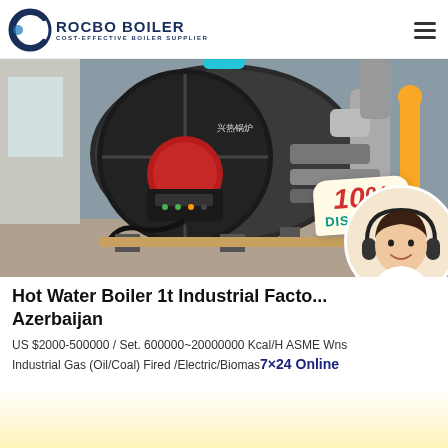ROCBO BOILER — COST-EFFECTIVE BOILER SUPPLIER
[Figure (photo): Industrial hot water boiler in a factory setting — large cylindrical boiler with red burner unit, black and silver panels, exhaust ducting. Overlaid with a 10% DISCOUNT badge and a customer service agent avatar.]
Hot Water Boiler 1t Industrial Factory Azerbaijan
US $2000-500000 / Set. 600000~20000000 Kcal/H ASME Wns Industrial Gas (Oil/Coal) Fired /Electric/Biomass